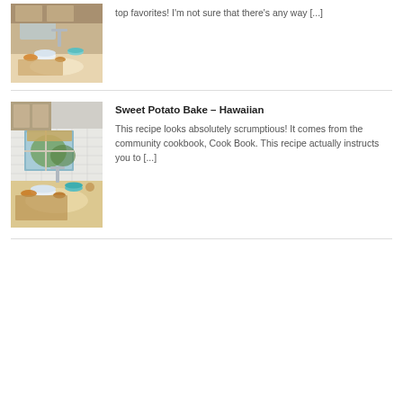[Figure (photo): Kitchen scene with bowls, food and cutting board on counter, warm tones]
top favorites! I'm not sure that there's any way [...]
[Figure (photo): Kitchen scene with window, white tile backsplash, bowls and food on wooden counter]
Sweet Potato Bake – Hawaiian
This recipe looks absolutely scrumptious! It comes from the community cookbook, Cook Book. This recipe actually instructs you to [...]